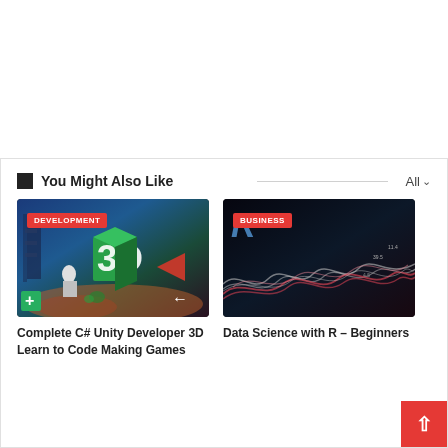You Might Also Like
[Figure (photo): Thumbnail image for a 3D Unity game development course showing a colorful 3D scene with a cube and arrow, with DEVELOPMENT badge]
Complete C# Unity Developer 3D Learn to Code Making Games
[Figure (photo): Thumbnail image for a Data Science with R course showing dark background with wavy data visualization lines and R logo, with BUSINESS badge]
Data Science with R – Beginners